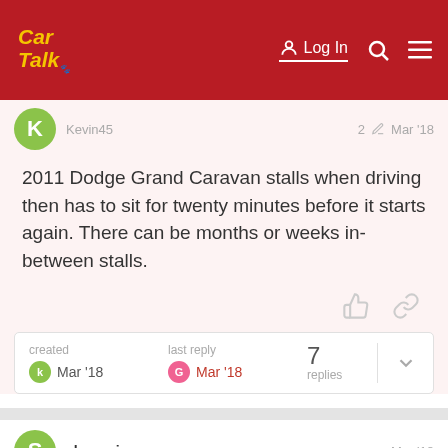Car Talk — Log In
Kevin45   2  Mar '18
2011 Dodge Grand Caravan stalls when driving then has to sit for twenty minutes before it starts again. There can be months or weeks in-between stalls.
created Mar '18   last reply Mar '18   7 replies
shanonia   Mar '18
Back
1 / 8